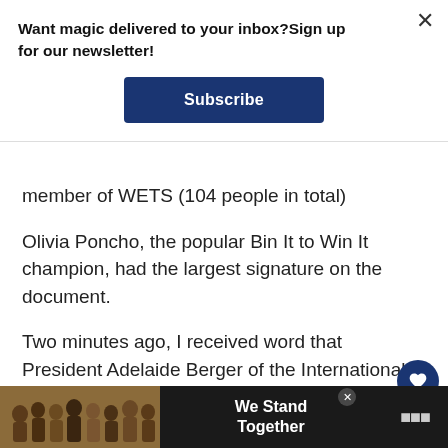Want magic delivered to your inbox?Sign up for our newsletter!
Subscribe
member of WETS (104 people in total)
Olivia Poncho, the popular Bin It to Win It champion, had the largest signature on the document.
Two minutes ago, I received word that President Adelaide Berger of the International Wizolympic Committee has agreed to sit down
[Figure (photo): Bottom advertisement banner showing a group of people with backs to camera with text 'We Stand Together']